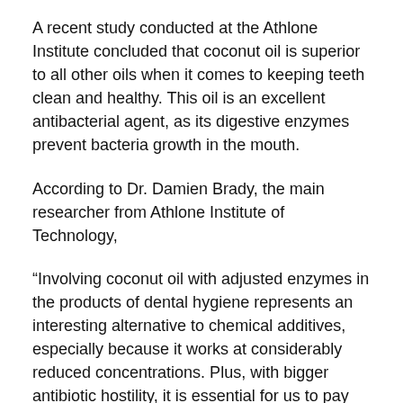A recent study conducted at the Athlone Institute concluded that coconut oil is superior to all other oils when it comes to keeping teeth clean and healthy. This oil is an excellent antibacterial agent, as its digestive enzymes prevent bacteria growth in the mouth.
According to Dr. Damien Brady, the main researcher from Athlone Institute of Technology,
“Involving coconut oil with adjusted enzymes in the products of dental hygiene represents an interesting alternative to chemical additives, especially because it works at considerably reduced concentrations. Plus, with bigger antibiotic hostility, it is essential for us to pay attention in finding and using some new ways to fight against microbial infection.”
Toothpastes are rich in triclosan, sodium lauryl sulfate